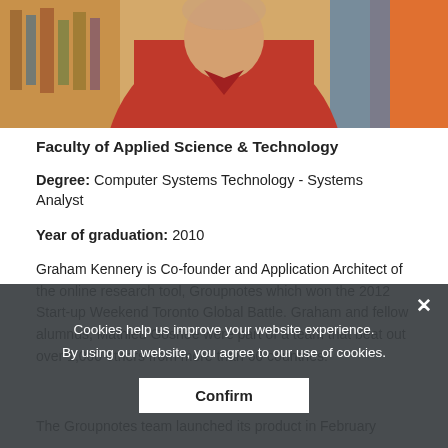[Figure (photo): Partial photo of a person wearing a red v-neck shirt, cropped at top of page]
Faculty of Applied Science & Technology
Degree: Computer Systems Technology - Systems Analyst
Year of graduation: 2010
Graham Kennery is Co-founder and Application Architect of the online research tool, Groupnotes which won the 2012 Start-up Weekend Toronto Global Battle. Graham and fellow alumnus, Mathieu Goshee were part of a team that beat out over 1,000 others from more than 60 countries.
The Groupnotes team launched its product in February
Cookies help us improve your website experience. By using our website, you agree to our use of cookies.